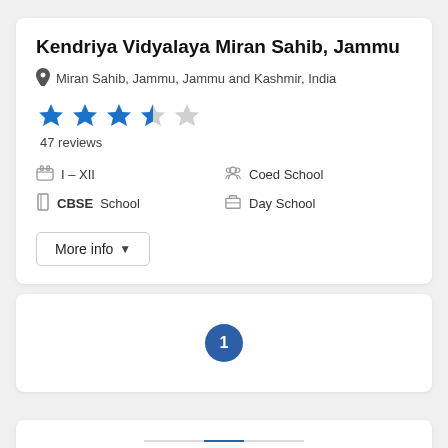Kendriya Vidyalaya Miran Sahib, Jammu
Miran Sahib, Jammu, Jammu and Kashmir, India
47 reviews
I – XII
CBSE School
Coed School
Day School
More info
1
Explore Schools in Popular